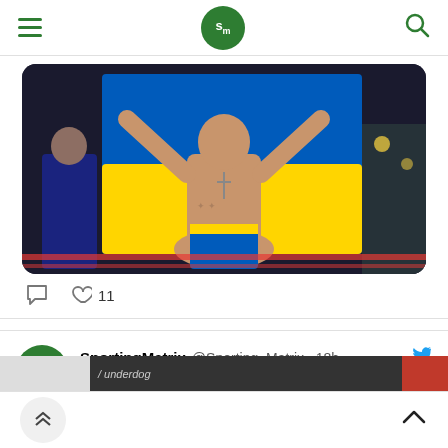SportingMatrix navigation bar with hamburger menu, SM logo, and search icon
[Figure (photo): Boxer (Usyk) with arms raised celebrating, holding Ukrainian flag, shirtless, in a boxing ring with crowd in background. Another person in suit visible to the left.]
11 likes, comment icon
SportingMatrix @Sporting_Matrix · 18h
🇬🇧 (flag emoji with Cyrillic/decorative text)
Can Anthony Joshua and Leon Edwards defy the odds tonight?
#UsykJoshua2 #UFC278 @catchweightpod
[Figure (screenshot): Bottom preview strip showing partial image with 'underdog' text on dark bar and red section on right]